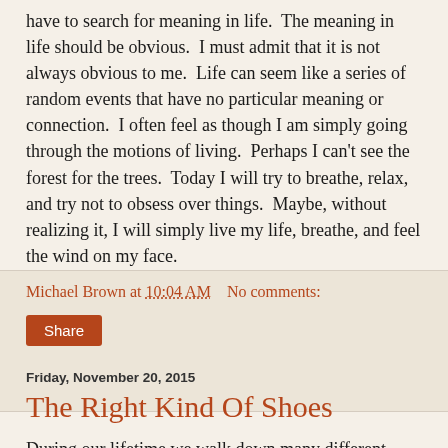have to search for meaning in life.  The meaning in life should be obvious.  I must admit that it is not always obvious to me.  Life can seem like a series of random events that have no particular meaning or connection.  I often feel as though I am simply going through the motions of living.  Perhaps I can't see the forest for the trees.  Today I will try to breathe, relax, and try not to obsess over things.  Maybe, without realizing it, I will simply live my life, breathe, and feel the wind on my face.
Michael Brown at 10:04 AM   No comments:
Share
Friday, November 20, 2015
The Right Kind Of Shoes
During our lifetime we walk down many different roads.  We start in one place and end up in another place.  When one road ends, another one begins.  As Tom Hanks declared in the movie Forrest Gump...